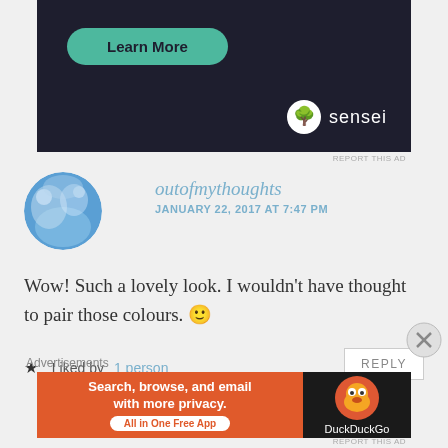[Figure (screenshot): Advertisement banner with dark background (#1e1e2e), teal 'Learn More' pill button, and Sensei logo (bonsai tree icon with white circle) and 'sensei' text in white on the right side.]
REPORT THIS AD
outofmythoughts
JANUARY 22, 2017 AT 7:47 PM
Wow! Such a lovely look. I wouldn't have thought to pair those colours. 🙂
★ Liked by 1 person
REPLY
Advertisements
[Figure (screenshot): DuckDuckGo advertisement banner. Orange left side with text 'Search, browse, and email with more privacy.' and 'All in One Free App' button. Dark right side with DuckDuckGo duck logo and 'DuckDuckGo' text.]
REPORT THIS AD